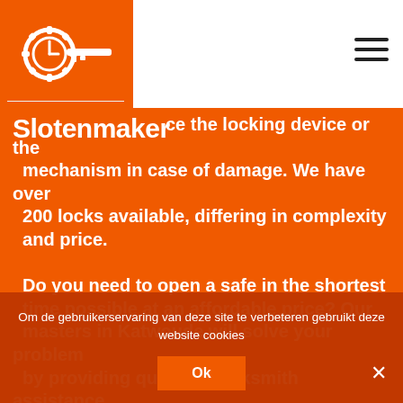[Figure (logo): Slotenmaker logo: orange background with a clock/gear key icon in white]
Slotenmaker
ce the locking device or the mechanism in case of damage. We have over 200 locks available, differing in complexity and price.
Do you need to open a safe in the shortest time possible at an affordable price? Our masters in Katwoude will solve your problem by providing qualified locksmith assistance and high-quality warranty service at a fair price
Om de gebruikerservaring van deze site te verbeteren gebruikt deze website cookies